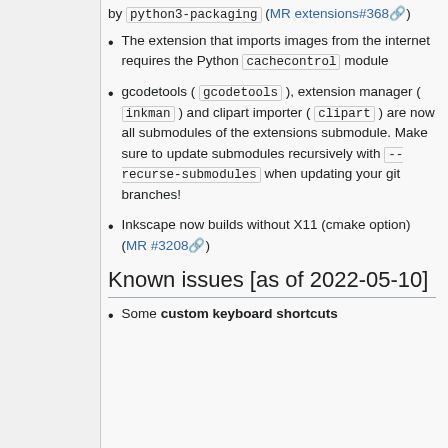by python3-packaging (MR extensions#368)
The extension that imports images from the internet requires the Python cachecontrol module
gcodetools ( gcodetools ), extension manager ( inkman ) and clipart importer ( clipart ) are now all submodules of the extensions submodule. Make sure to update submodules recursively with --recurse-submodules when updating your git branches!
Inkscape now builds without X11 (cmake option) (MR #3208)
Known issues [as of 2022-05-10]
Some custom keyboard shortcuts